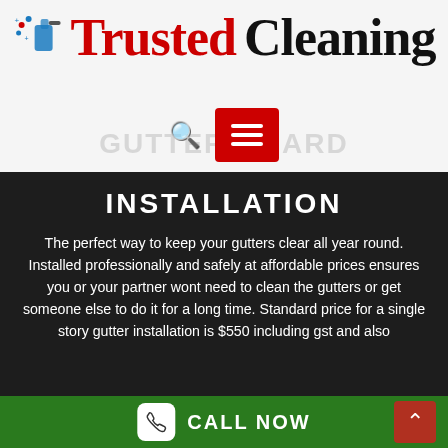[Figure (logo): Trusted Cleaning logo with spray bottle icon, red 'Trusted' and black 'Cleaning' text]
[Figure (screenshot): Search icon and red hamburger menu button in navigation bar]
INSTALLATION
The perfect way to keep your gutters clear all year round. Installed professionally and safely at affordable prices ensures you or your partner wont need to clean the gutters or get someone else to do it for a long time. Standard price for a single story gutter installation is $550 including gst and also
CALL NOW